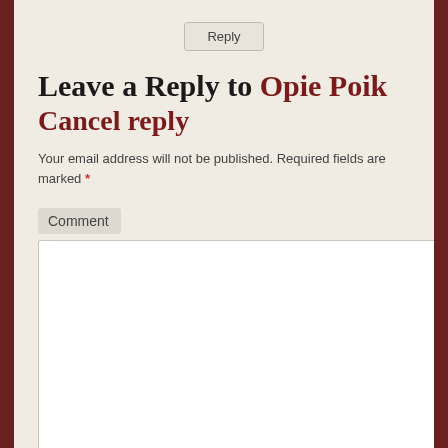[Figure (screenshot): Reply button at top center of the page]
Leave a Reply to Opie Poik Cancel reply
Your email address will not be published. Required fields are marked *
Comment
[Figure (screenshot): Empty comment textarea input field]
Name *
[Figure (screenshot): Empty name input field]